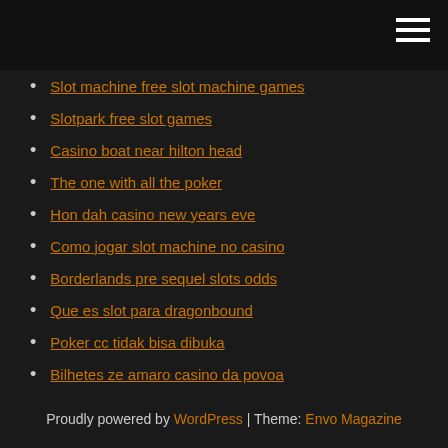Slot machine free slot machine games
Slotpark free slot games
Casino boat near hilton head
The one with all the poker
Hon dah casino new years eve
Como jogar slot machine no casino
Borderlands pre sequel slots odds
Que es slot para dragonbound
Poker cc tidak bisa dibuka
Bilhetes ze amaro casino da povoa
Valor entrada casino enjoy castro
Proudly powered by WordPress | Theme: Envo Magazine